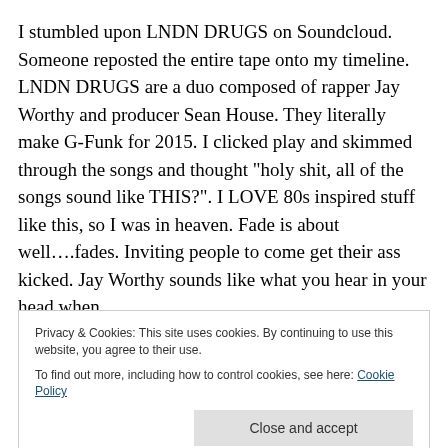I stumbled upon LNDN DRUGS on Soundcloud. Someone reposted the entire tape onto my timeline. LNDN DRUGS are a duo composed of rapper Jay Worthy and producer Sean House. They literally make G-Funk for 2015. I clicked play and skimmed through the songs and thought “holy shit, all of the songs sound like THIS?”. I LOVE 80s inspired stuff like this, so I was in heaven. Fade is about well….fades. Inviting people to come get their ass kicked. Jay Worthy sounds like what you hear in your head when
Privacy & Cookies: This site uses cookies. By continuing to use this website, you agree to their use.
To find out more, including how to control cookies, see here: Cookie Policy
Close and accept